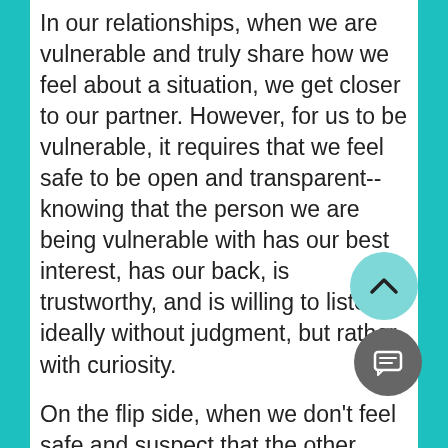In our relationships, when we are vulnerable and truly share how we feel about a situation, we get closer to our partner. However, for us to be vulnerable, it requires that we feel safe to be open and transparent--knowing that the person we are being vulnerable with has our best interest, has our back, is trustworthy, and is willing to listen, ideally without judgment, but rather with curiosity.
On the flip side, when we don't feel safe and suspect that the other party has a hidden agenda or is out to get us, we don't trust them, we hold back information,